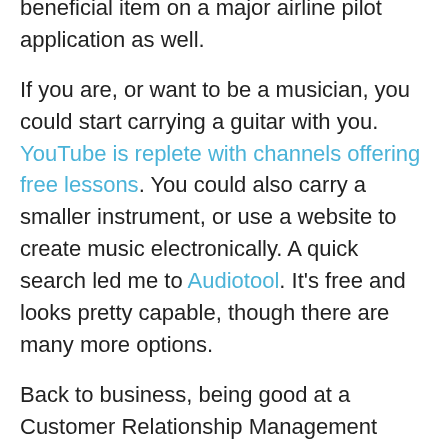believe that it would be a unique and beneficial item on a major airline pilot application as well.
If you are, or want to be a musician, you could start carrying a guitar with you. YouTube is replete with channels offering free lessons. You could also carry a smaller instrument, or use a website to create music electronically. A quick search led me to Audiotool. It's free and looks pretty capable, though there are many more options.
Back to business, being good at a Customer Relationship Management (CRM) tool like Salesforce is a high-